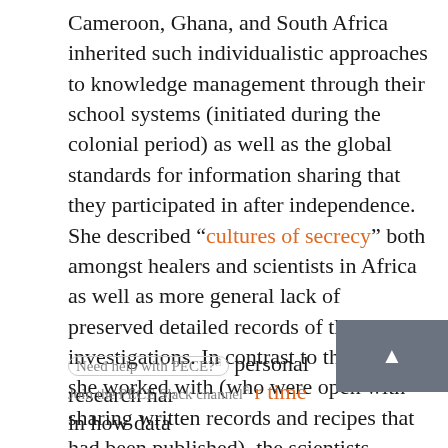Cameroon, Ghana, and South Africa inherited such individualistic approaches to knowledge management through their school systems (initiated during the colonial period) as well as the global standards for information sharing that they participated in after independence. She described “cultures of secrecy” both amongst healers and scientists in Africa as well as more general lack of preserved detailed records of their investigations. In contrast to the healers she worked with (who were open with sharing written records and recipes that had been published), the scientists Osseo-Asare engaged with were notably wary of speaking to a historian interested in observing them in their place of work and asking them [Need help with PECE?] personal research narrative. [Join the PECE Slack channel] r time in how data